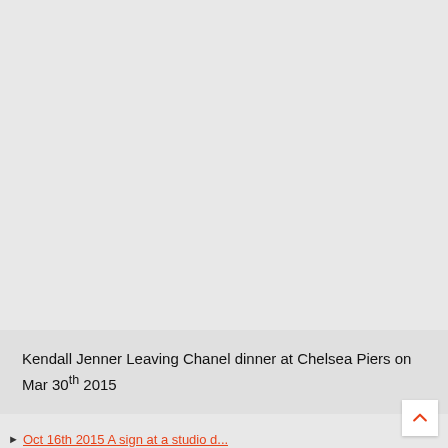[Figure (photo): Large photo area (image not loaded/visible) showing Kendall Jenner leaving Chanel dinner at Chelsea Piers on Mar 30th 2015]
Kendall Jenner Leaving Chanel dinner at Chelsea Piers on Mar 30th 2015
Oct 16th 2015 A sign at a studio d...